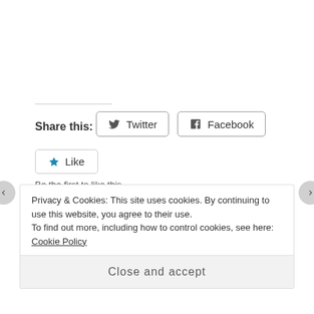Share this:
[Figure (other): Twitter social share button]
[Figure (other): Facebook social share button]
[Figure (other): Like button with star icon]
Be the first to like this.
Privacy & Cookies: This site uses cookies. By continuing to use this website, you agree to their use. To find out more, including how to control cookies, see here: Cookie Policy
Close and accept